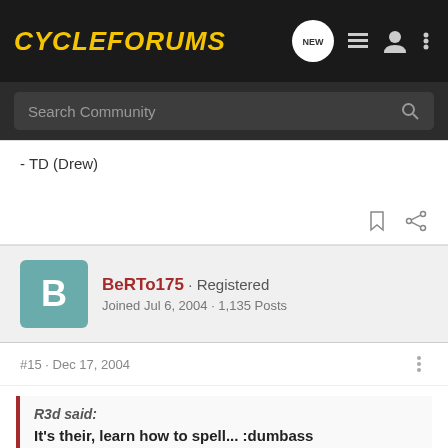[Figure (screenshot): CycleForums logo in yellow italic bold text on dark background, with navigation icons (NEW chat bubble, list icon, user icon, dots menu)]
Search Community
- TD (Drew)
BeRTo175 · Registered
Joined Jul 6, 2004 · 1,135 Posts
#15 · Dec 17, 2004
R3d said:
It's their, learn how to spell... :dumbass
:redflip